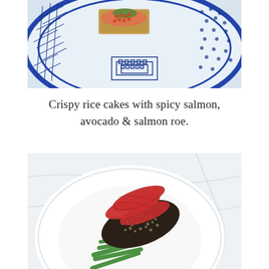[Figure (photo): Top-down view of a blue and white decorative patterned plate (Chinese/Japanese style blue willow pattern) with crispy rice cakes topped with spicy salmon, avocado, and salmon roe.]
Crispy rice cakes with spicy salmon, avocado & salmon roe.
[Figure (photo): Overhead view of a white round plate on a white linen cloth, with seared sesame-crusted tuna sliced to reveal rare red interior, served with green beans or cucumber slices.]